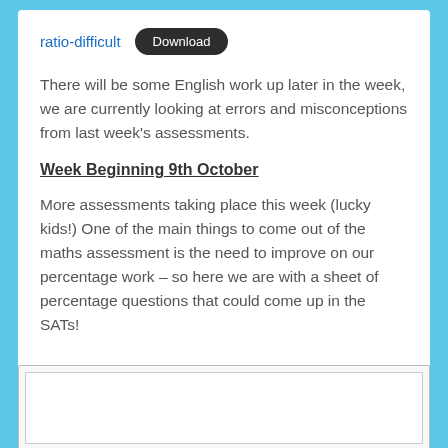ratio-difficult  Download
There will be some English work up later in the week, we are currently looking at errors and misconceptions from last week’s assessments.
Week Beginning 9th October
More assessments taking place this week (lucky kids!) One of the main things to come out of the maths assessment is the need to improve on our percentage work – so here we are with a sheet of percentage questions that could come up in the SATs!
[Figure (other): Embedded white box/frame at bottom of page, partially visible]